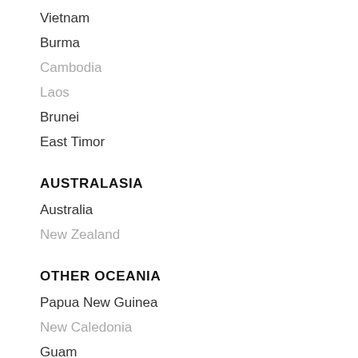Vietnam
Burma
Cambodia
Laos
Brunei
East Timor
AUSTRALASIA
Australia
New Zealand
OTHER OCEANIA
Papua New Guinea
New Caledonia
Guam
French Polynesia
Fiji